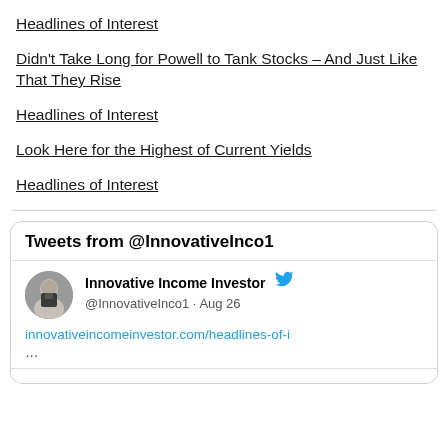Headlines of Interest
Didn't Take Long for Powell to Tank Stocks – And Just Like That They Rise
Headlines of Interest
Look Here for the Highest of Current Yields
Headlines of Interest
[Figure (screenshot): Embedded Twitter widget showing tweets from @InnovativeInco1. Contains a tweet by Innovative Income Investor (@InnovativeInco1 · Aug 26) with a link to innovativeincomeinvestor.com/headlines-of-i followed by ellipsis.]